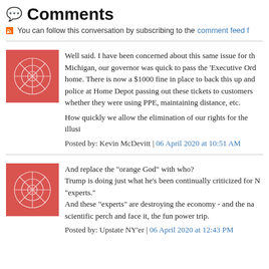💬 Comments
You can follow this conversation by subscribing to the comment feed f
Well said. I have been concerned about this same issue for th Michigan, our governor was quick to pass the 'Executive Ord home. There is now a $1000 fine in place to back this up and police at Home Depot passing out these tickets to customers whether they were using PPE, maintaining distance, etc.

How quickly we allow the elimination of our rights for the illusi
Posted by: Kevin McDevitt | 06 April 2020 at 10:51 AM
And replace the "orange God" with who?
Trump is doing just what he's been continually criticized for N "experts."
And these "experts" are destroying the economy - and the na scientific perch and face it, the fun power trip.
Posted by: Upstate NY'er | 06 April 2020 at 12:43 PM